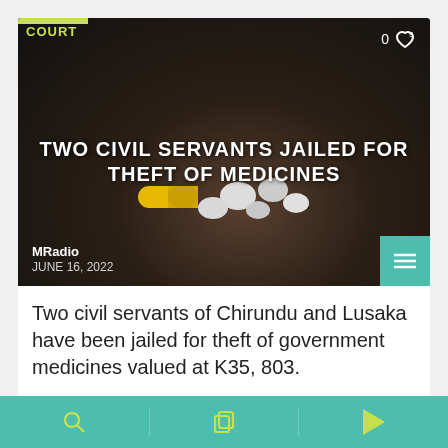COURT
[Figure (photo): Dark photo of a hand holding various pills and capsules including yellow and white tablets, with text overlay of the article headline.]
TWO CIVIL SERVANTS JAILED FOR THEFT OF MEDICINES
MRadio
JUNE 16, 2022
Two civil servants of Chirundu and Lusaka have been jailed for theft of government medicines valued at K35, 803.